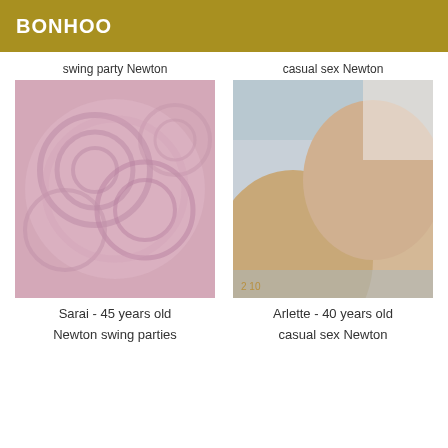BONHOO
swing party Newton
[Figure (photo): Close-up photo of skin with floral embossed texture pattern in pink tones]
Sarai - 45 years old
Newton swing parties
casual sex Newton
[Figure (photo): Close-up photo showing human body curves in beige/tan tones with a light blue background]
Arlette - 40 years old
casual sex Newton